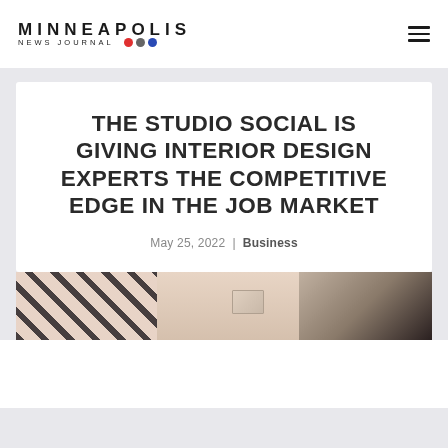MINNEAPOLIS NEWS JOURNAL
THE STUDIO SOCIAL IS GIVING INTERIOR DESIGN EXPERTS THE COMPETITIVE EDGE IN THE JOB MARKET
May 25, 2022 | Business
[Figure (photo): A flat-lay photo showing interior design items including what appears to be fabric swatches and a small mirror or frame on a light background with black and white striped elements.]